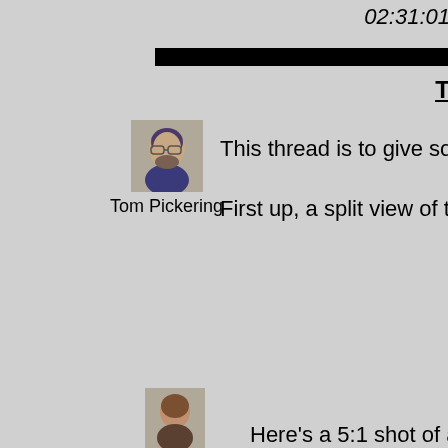02:31:01
T
[Figure (photo): Profile photo of Tom Pickering, a man with glasses and dark hair]
Tom Pickering
This thread is to give some p
First up, a split view of the ba
[Figure (photo): Small profile photo of another user at the bottom]
Here's a 5:1 shot of a